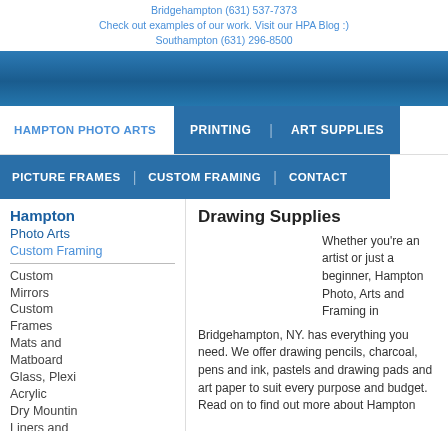Bridgehampton (631) 537-7373
Check out examples of our work. Visit our HPA Blog :)
Southampton (631) 296-8500
[Figure (screenshot): Dark blue gradient navigation banner]
HAMPTON PHOTO ARTS | PRINTING | ART SUPPLIES
PICTURE FRAMES | CUSTOM FRAMING | CONTACT
Hampton Photo Arts
Custom Framing
Custom Mirrors
Custom Frames
Mats and Matboard
Glass, Plexi
Acrylic
Dry Mounting
Liners and Fillets
Drawing Supplies
Whether you're an artist or just a beginner, Hampton Photo, Arts and Framing in
Bridgehampton, NY. has everything you need. We offer drawing pencils, charcoal, pens and ink, pastels and drawing pads and art paper to suit every purpose and budget. Read on to find out more about Hampton